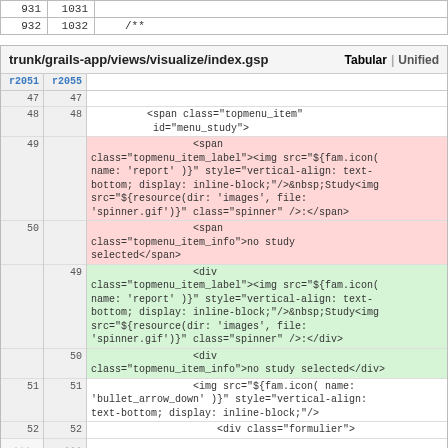|  |  |  |
| --- | --- | --- |
| 931 | 1031 |  |
| 932 | 1032 | /** |
| trunk/grails-app/views/visualize/index.gsp | Tabular | Unified |
| --- | --- | --- |
| r2051 | r2055 |  |
| 47 | 47 |  |
| 48 | 48 | <span class="topmenu_item" id="menu_study"> |
| 49 |  | <span class="topmenu_item_label"><img src="${fam.icon( name: 'report' )}" style="vertical-align: text-bottom; display: inline-block;"/>&nbsp;Study<img src="${resource(dir: 'images', file: 'spinner.gif')}" class="spinner" />:</span> |
| 50 |  | <span class="topmenu_item_info">no study selected</span> |
|  | 49 | <div class="topmenu_item_label"><img src="${fam.icon( name: 'report' )}" style="vertical-align: text-bottom; display: inline-block;"/>&nbsp;Study<img src="${resource(dir: 'images', file: 'spinner.gif')}" class="spinner" />:</div> |
|  | 50 | <div class="topmenu_item_info">no study selected</div> |
| 51 | 51 | <img src="${fam.icon( name: 'bullet_arrow_down' )}" style="vertical-align: text-bottom; display: inline-block;"/> |
| 52 | 52 | <div class="formulier"> |
| ... | ... |  |
| 58 | 58 | </span> |
| 59 | 59 |  |
| 60 |  |  |